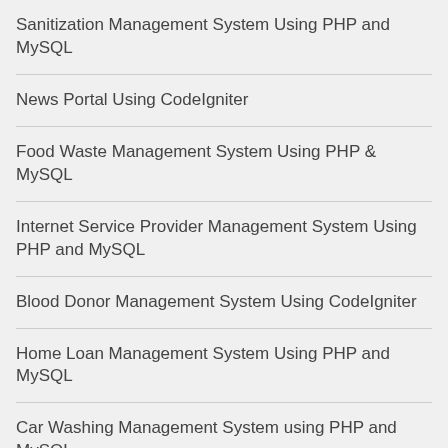Sanitization Management System Using PHP and MySQL
News Portal Using CodeIgniter
Food Waste Management System Using PHP & MySQL
Internet Service Provider Management System Using PHP and MySQL
Blood Donor Management System Using CodeIgniter
Home Loan Management System Using PHP and MySQL
Car Washing Management System using PHP and MySQL
Curfew e-Pass Management System Using PHP and